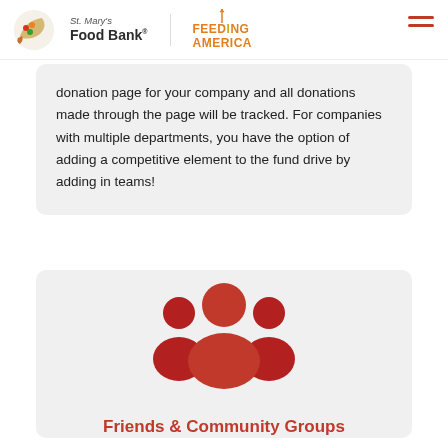St. Mary's Food Bank | Feeding America
donation page for your company and all donations made through the page will be tracked. For companies with multiple departments, you have the option of adding a competitive element to the fund drive by adding in teams!
[Figure (illustration): Red icon of a group of people (community/friends icon) on a gray background card]
Friends & Community Groups